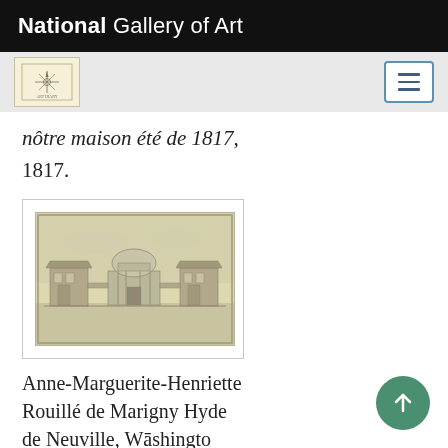National Gallery of Art
nôtre maison été de 1817, 1817.
[Figure (illustration): Engraving or drawing of a grand classical estate or palace complex with central domed structure flanked by two symmetrical wings, set in open landscape, rendered in pale brown/sepia tones.]
Anne-Marguerite-Henriette Rouillé de Marigny Hyde de Neuville, Washington...